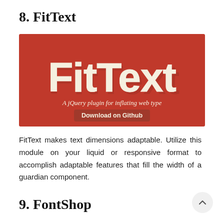8. FitText
[Figure (screenshot): FitText logo and tagline on a red background: large bold cream-colored 'FitText' text with drop shadow, subtitle 'A jQuery plugin for inflating web type', and 'Download on Github' button.]
FitText makes text dimensions adaptable. Utilize this module on your liquid or responsive format to accomplish adaptable features that fill the width of a guardian component.
9. FontShop